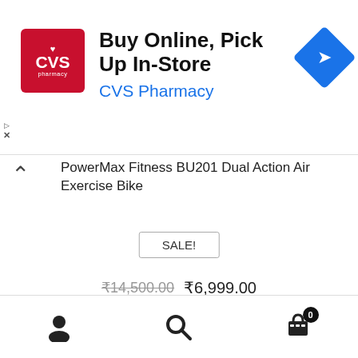[Figure (screenshot): CVS Pharmacy advertisement banner: Buy Online, Pick Up In-Store]
PowerMax Fitness BU201 Dual Action Air Exercise Bike
SALE!
₹14,500.00  ₹6,999.00
Check in Amazon
[Figure (screenshot): Boston University - BU College of Fine Arts advertisement banner]
user icon | search icon | cart (0)